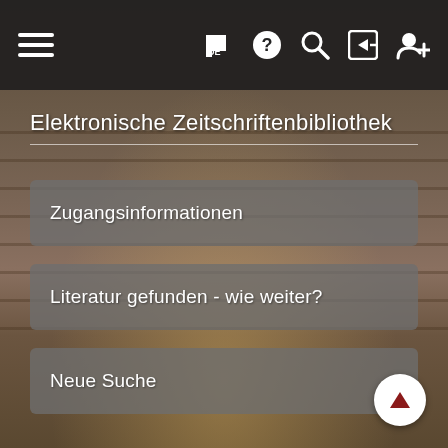[Figure (screenshot): Dark navigation bar with hamburger menu on left and icons (flag DE, question mark, search, login, add user) on right, white icons on dark background]
Elektronische Zeitschriftenbibliothek
Zugangsinformationen
Literatur gefunden - wie weiter?
Neue Suche